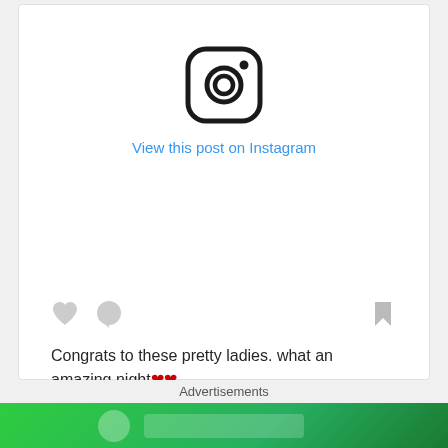[Figure (logo): Instagram logo icon - rounded square with camera outline]
View this post on Instagram
[Figure (illustration): Action row with heart icon, comment bubble icon, and bookmark icon]
Congrats to these pretty ladies. what an amazing night❤❤❤❤ ECLIPSED !!! #eclipsed
A post shared by norman reedus (@bigbaldhead) on May 2...
Advertisements
[Figure (photo): Green advertisement banner at bottom]